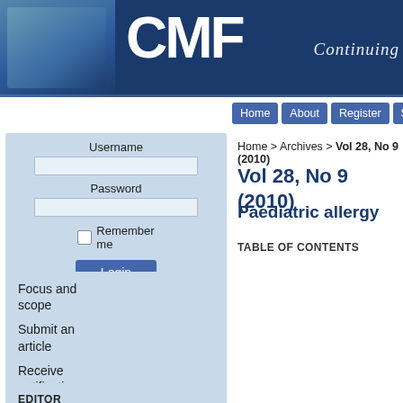[Figure (screenshot): CMF journal website header banner with blue background and white CMF logo text, with 'Continuing' text visible and a medical photo overlay on the left]
Home | About | Register | Search | Issues | Auth
Home > Archives > Vol 28, No 9 (2010)
Vol 28, No 9 (2010)
Paediatric allergy
TABLE OF CONTENTS
Username
Password
Remember me
Login
Focus and scope
Submit an article
Receive notifications
Support
Contact
EDITOR